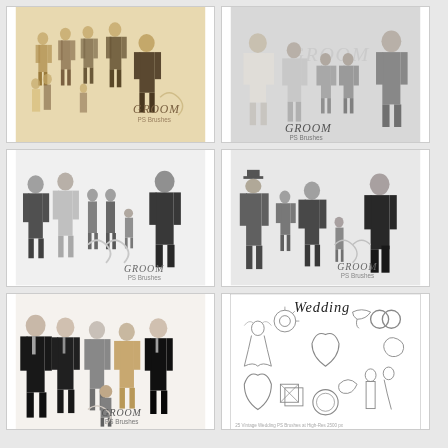[Figure (illustration): Vintage sepia-toned illustration of multiple groom figures in tuxedos and formal wear, with a dancing couple. Text reads GROOM PS Brushes.]
[Figure (illustration): Black and white photo-realistic illustration of multiple groom figures in modern suits. Text reads GROOM PS Brushes.]
[Figure (illustration): Grayscale illustration of multiple male figures in various suits including a small boy. Text reads GROOM PS Brushes.]
[Figure (illustration): Dark grayscale illustration of groom figures in formal attire including top hat and tuxedo. Text reads GROOM PS Brushes.]
[Figure (illustration): Color photo of five men in formal suits ranging from black to tan. Text reads GROOM PS Brushes.]
[Figure (illustration): Black and white sketch-style wedding clipart collection including bride, rings, doves, hearts, and floral elements. Text reads Wedding PS Brushes.]